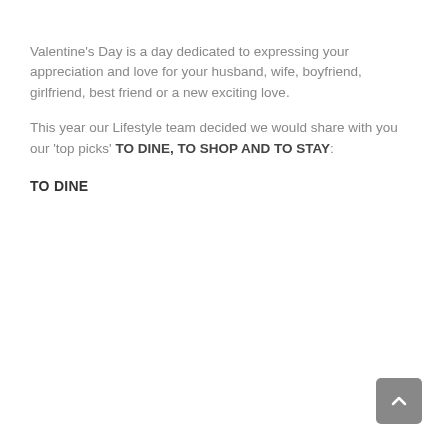Valentine's Day is a day dedicated to expressing your appreciation and love for your husband, wife, boyfriend, girlfriend, best friend or a new exciting love.
This year our Lifestyle team decided we would share with you our 'top picks' TO DINE, TO SHOP AND TO STAY:
TO DINE